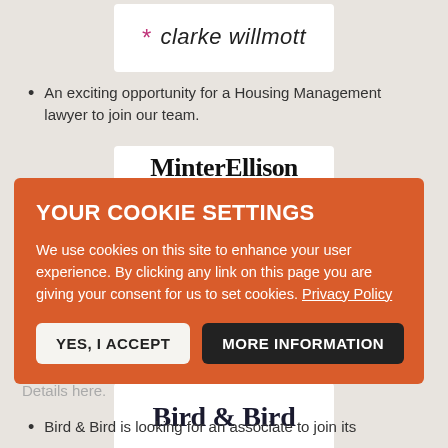[Figure (logo): Clarke Willmott law firm logo with pink asterisk symbol]
An exciting opportunity for a Housing Management lawyer to join our team.
[Figure (logo): Minter Ellison law firm logo, partially visible behind cookie banner]
[Figure (screenshot): Cookie consent overlay with orange background. Title: YOUR COOKIE SETTINGS. Body: We use cookies on this site to enhance your user experience. By clicking any link on this page you are giving your consent for us to set cookies. Privacy Policy. Buttons: YES, I ACCEPT and MORE INFORMATION]
...associate to join its Corporate Law team in New Zealand. Details here.
[Figure (logo): Bird & Bird law firm logo]
Bird & Bird is looking for an associate to join its